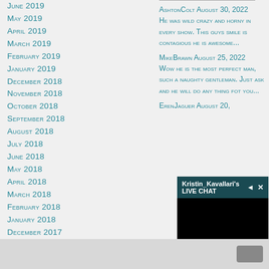June 2019
May 2019
April 2019
March 2019
February 2019
January 2019
December 2018
November 2018
October 2018
September 2018
August 2018
July 2018
June 2018
May 2018
April 2018
March 2018
February 2018
January 2018
December 2017
November 2017
October 2017
September 2017
AshtonColt August 30, 2022
He was wild crazy and horny in every show. This guys smile is contagious he is awesome...
MikeBrawn August 25, 2022
Wow he is the most perfect man, such a naughty gentleman. Just ask and he will do any thing fot you...
ErenJaguer August 20,
Kristin_Kavallari's LIVE CHAT